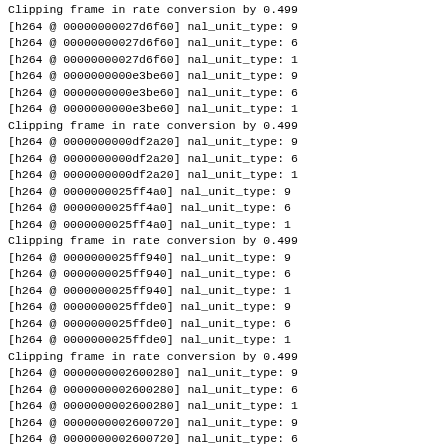Clipping frame in rate conversion by 0.499...
[h264 @ 00000000027d6f60] nal_unit_type: 9...
[h264 @ 00000000027d6f60] nal_unit_type: 6...
[h264 @ 00000000027d6f60] nal_unit_type: 1...
[h264 @ 0000000000e3be60] nal_unit_type: 9...
[h264 @ 0000000000e3be60] nal_unit_type: 6...
[h264 @ 0000000000e3be60] nal_unit_type: 1...
Clipping frame in rate conversion by 0.499...
[h264 @ 0000000000df2a20] nal_unit_type: 9...
[h264 @ 0000000000df2a20] nal_unit_type: 6...
[h264 @ 0000000000df2a20] nal_unit_type: 1...
[h264 @ 0000000025ff4a0] nal_unit_type: 9...
[h264 @ 0000000025ff4a0] nal_unit_type: 6...
[h264 @ 0000000025ff4a0] nal_unit_type: 1...
Clipping frame in rate conversion by 0.499...
[h264 @ 0000000025ff940] nal_unit_type: 9...
[h264 @ 0000000025ff940] nal_unit_type: 6...
[h264 @ 0000000025ff940] nal_unit_type: 1...
[h264 @ 0000000025ffde0] nal_unit_type: 9...
[h264 @ 0000000025ffde0] nal_unit_type: 6...
[h264 @ 0000000025ffde0] nal_unit_type: 1...
Clipping frame in rate conversion by 0.499...
[h264 @ 0000000002600280] nal_unit_type: 9...
[h264 @ 0000000002600280] nal_unit_type: 6...
[h264 @ 0000000002600280] nal_unit_type: 1...
[h264 @ 0000000002600720] nal_unit_type: 9...
[h264 @ 0000000002600720] nal_unit_type: 6...
[h264 @ 0000000002600720] nal_unit_type: 1...
Clipping frame in rate conversion by 0.499...
[h264 @ 00000000002cd22c0] nal_unit_type: 9...
[h264 @ 00000000002cd22c0] nal_unit_type: 6...